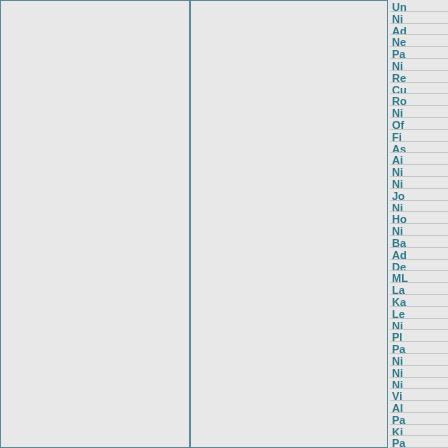Un, Ni, Ad, Ne, Pa, Ni, Re, Cu, Ro, Ni, Of, Fi, As, Ai, Ni, Ni, Jo, Ni, Ho, Ni, Ba, Ad, De, ML, La, Ka, Le, Ni, Pl, Pa, Ni, Ni, Ni, Vi, Al, Pa, Ki, Pa